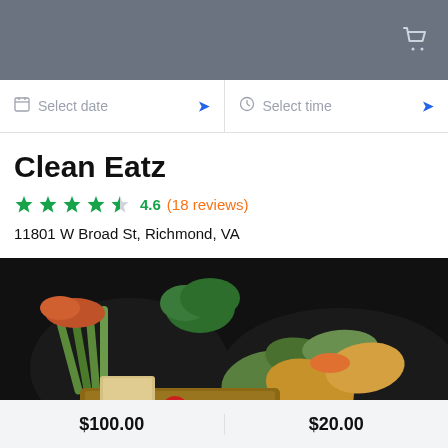Cart icon in header
Select date
Select time
Clean Eatz
4.6 (18 reviews)
11801 W Broad St, Richmond, VA
[Figure (photo): Food platter with wraps, vegetables, strawberries and cheese on dark background]
$100.00
$20.00